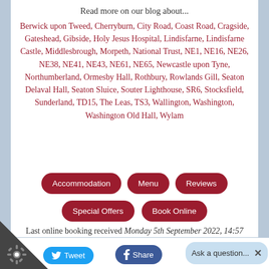Read more on our blog about...
Berwick upon Tweed, Cherryburn, City Road, Coast Road, Cragside, Gateshead, Gibside, Holy Jesus Hospital, Lindisfarne, Lindisfarne Castle, Middlesbrough, Morpeth, National Trust, NE1, NE16, NE26, NE38, NE41, NE43, NE61, NE65, Newcastle upon Tyne, Northumberland, Ormesby Hall, Rothbury, Rowlands Gill, Seaton Delaval Hall, Seaton Sluice, Souter Lighthouse, SR6, Stocksfield, Sunderland, TD15, The Leas, TS3, Wallington, Washington, Washington Old Hall, Wylam
Accommodation
Menu
Reviews
Special Offers
Book Online
Last online booking received Monday 5th September 2022, 14:57 Country 🇬🇧
Tweet | Share | Ask a question...